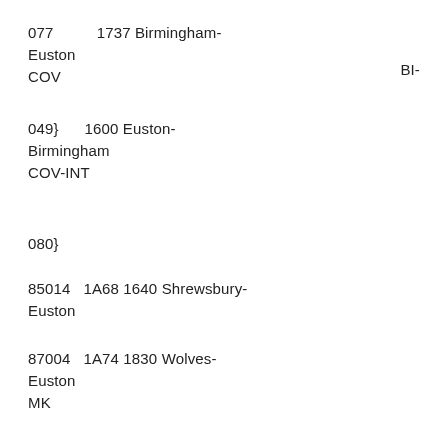077          1737 Birmingham-Euston                                                    BI-COV
049}       1600 Euston-Birmingham COV-INT
080}
85014    1A68 1640 Shrewsbury-Euston                                           47331 liner
87004    1A74 1830 Wolves-Euston                                                    INT-MK